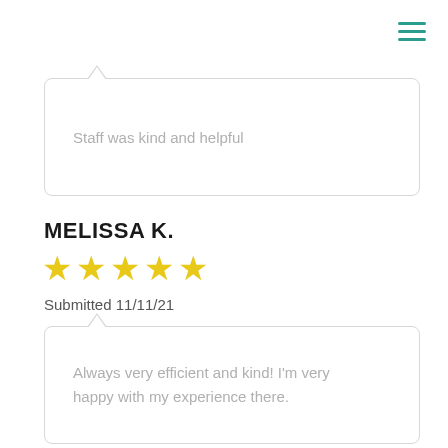[Figure (other): Hamburger menu icon with three horizontal green lines in the top-right corner]
Staff was kind and helpful
MELISSA K.
[Figure (other): 5 yellow star rating icons]
Submitted 11/11/21
Always very efficient and kind! I'm very happy with my experience there.